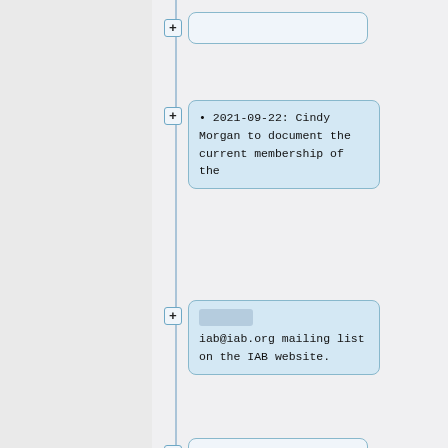[Figure (screenshot): A tree/outline UI view showing collapsible nodes in a document editor. The right panel shows a vertical list of rounded-rectangle nodes connected by a tree structure. The top node is collapsed (empty, shown with a + button). The second node contains text: '• 2021-09-22: Cindy Morgan to document the current membership of the'. The third node contains a small light-blue box with 'iab@iab.org mailing list on the IAB website.' text. Below are three more collapsed empty nodes. At the bottom, a partial node is visible. The left panel is a grey sidebar.]